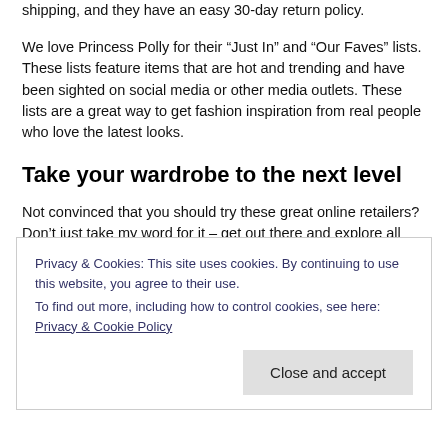shipping, and they have an easy 30-day return policy.
We love Princess Polly for their “Just In” and “Our Faves” lists. These lists feature items that are hot and trending and have been sighted on social media or other media outlets. These lists are a great way to get fashion inspiration from real people who love the latest looks.
Take your wardrobe to the next level
Not convinced that you should try these great online retailers? Don’t just take my word for it – get out there and explore all these stores have to offer. You are sure to find something you love, and you may just find some inspiration for taking your wardrobe to the
Privacy & Cookies: This site uses cookies. By continuing to use this website, you agree to their use.
To find out more, including how to control cookies, see here: Privacy & Cookie Policy
Close and accept